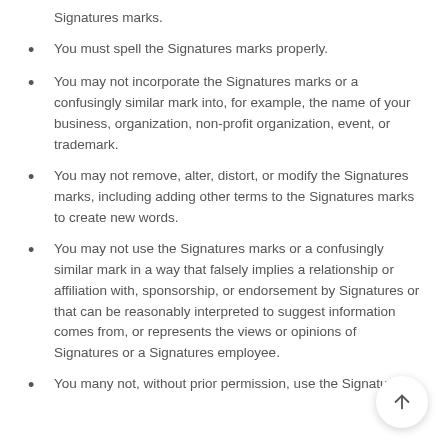Signatures marks.
You must spell the Signatures marks properly.
You may not incorporate the Signatures marks or a confusingly similar mark into, for example, the name of your business, organization, non-profit organization, event, or trademark.
You may not remove, alter, distort, or modify the Signatures marks, including adding other terms to the Signatures marks to create new words.
You may not use the Signatures marks or a confusingly similar mark in a way that falsely implies a relationship or affiliation with, sponsorship, or endorsement by Signatures or that can be reasonably interpreted to suggest information comes from, or represents the views or opinions of Signatures or a Signatures employee.
You many not, without prior permission, use the Signatures